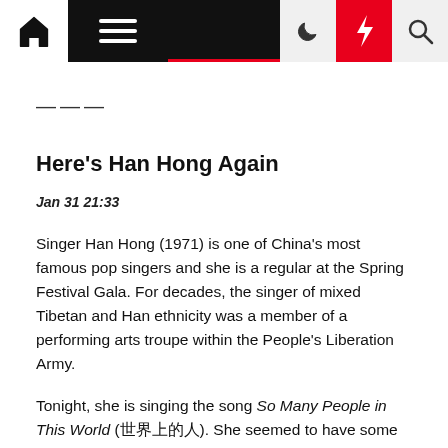Navigation bar with home, menu, moon, lightning, search icons
———
Here's Han Hong Again
Jan 31 21:33
Singer Han Hong (1971) is one of China's most famous pop singers and she is a regular at the Spring Festival Gala. For decades, the singer of mixed Tibetan and Han ethnicity was a member of a performing arts troupe within the People's Liberation Army.
Tonight, she is singing the song So Many People in This World (世界上的人). She seemed to have some tears